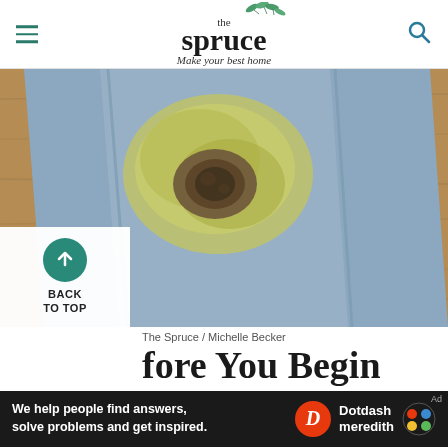the spruce — Make your best home
[Figure (photo): Close-up photo of blue denim jeans with a large yellowish-green and dark brown stain, laid flat on a wooden surface]
The Spruce / Michelle Becker
fore You Begin
[Figure (other): Dotdash Meredith advertisement banner: 'We help people find answers, solve problems and get inspired.' with Dotdash Meredith logo]